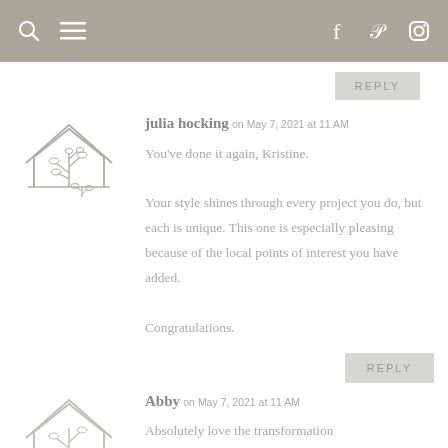Navigation bar with search, menu, facebook, pinterest, instagram icons
julia hocking on May 7, 2021 at 11 AM
You've done it again, Kristine.
Your style shines through every project you do, but each is unique. This one is especially pleasing because of the local points of interest you have added.
Congratulations.
REPLY
Abby on May 7, 2021 at 11 AM
Absolutely love the transformation